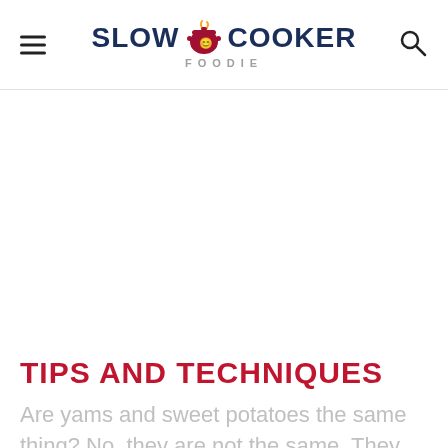SLOW COOKER FOODIE
TIPS AND TECHNIQUES
Are yams and sweet potatoes the same thing? No, they are not the same. They are